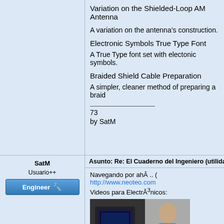Variation on the Shielded-Loop AM Antenna
A variation on the antenna’s construction.
Electronic Symbols True Type Font
A True Type font set with electonic symbols.
Braided Shield Cable Preparation
A simpler, cleaner method of preparing a braid...
73
by SatM
SatM
Usuario++
[Figure (other): Engineer badge with wrench icon]
Asunto: Re: El Cuaderno del Ingeniero (utilidades, herra...
Navegando por ahĀ .. ( http://www.neoteo.com... Videos para ElectrĀ³nicos:
[Figure (photo): Video thumbnail showing a person with electronics equipment]